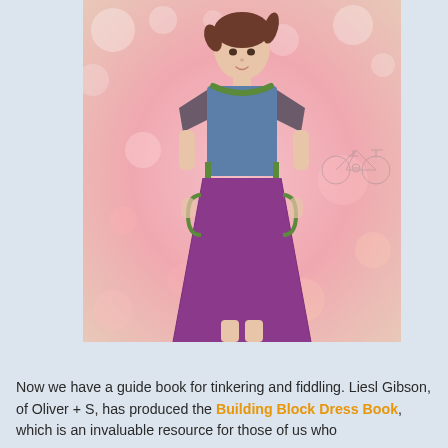[Figure (photo): A young girl wearing a color-block dress with blue bodice, dark grey short sleeves, green trim at neckline and pocket edges, and a purple skirt with pockets. She is standing against a pink bokeh background. A faint bicycle sketch is visible to the upper right.]
Now we have a guide book for tinkering and fiddling. Liesl Gibson, of Oliver + S, has produced the Building Block Dress Book, which is an invaluable resource for those of us who